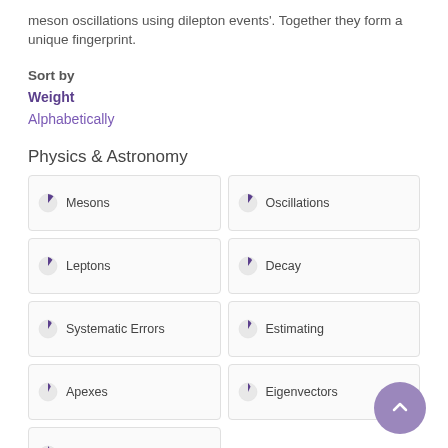meson oscillations using dilepton events'. Together they form a unique fingerprint.
Sort by
Weight
Alphabetically
Physics & Astronomy
Mesons
Oscillations
Leptons
Decay
Systematic Errors
Estimating
Apexes
Eigenvectors
Momentum
Engineering & Materials Science